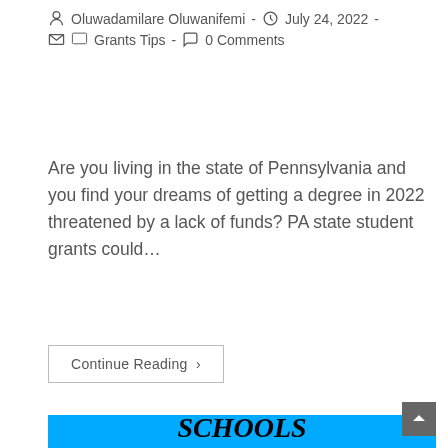Oluwadamilare Oluwanifemi  -  July 24, 2022  -  Grants Tips  -  0 Comments
Are you living in the state of Pennsylvania and you find your dreams of getting a degree in 2022 threatened by a lack of funds? PA state student grants could…
Continue Reading ›
[Figure (illustration): Blue background image with bold italic black text reading MUSIC PROGRAM GRANTS FOR PUBLIC SCHOOLS]